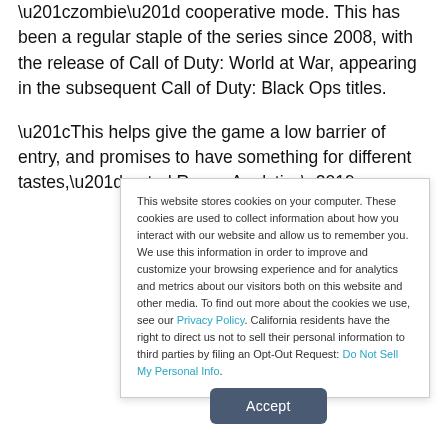“zombie” cooperative mode. This has been a regular staple of the series since 2008, with the release of Call of Duty: World at War, appearing in the subsequent Call of Duty: Black Ops titles.
“This helps give the game a low barrier of entry, and promises to have something for different tastes,” noted Recon Analytics’
This website stores cookies on your computer. These cookies are used to collect information about how you interact with our website and allow us to remember you. We use this information in order to improve and customize your browsing experience and for analytics and metrics about our visitors both on this website and other media. To find out more about the cookies we use, see our Privacy Policy. California residents have the right to direct us not to sell their personal information to third parties by filing an Opt-Out Request: Do Not Sell My Personal Info.
Accept